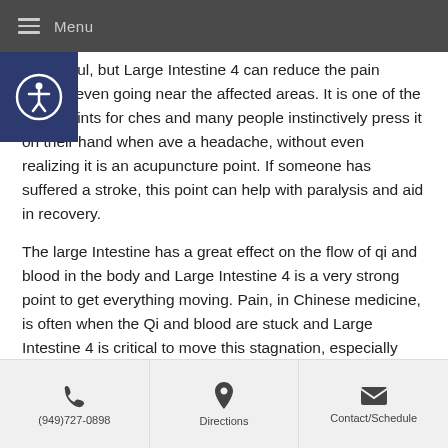Menu
be painful, but Large Intestine 4 can reduce the pain without even going near the affected areas. It is one of the main points for aches and many people instinctively press it on their hand when they have a headache, without even realizing it is an acupuncture point. If someone has suffered a stroke, this point can help with paralysis and aid in recovery.
The large Intestine has a great effect on the flow of qi and blood in the body and Large Intestine 4 is a very strong point to get everything moving. Pain, in Chinese medicine, is often when the Qi and blood are stuck and Large Intestine 4 is critical to move this stagnation, especially when coupled with another point called Liver 3. Together, this pair of points is called The Four Gates and together they are a powerhouse in getting the Qi and blood circulated. They can effectively treat pain, depression, constipation, promote labor, expel retained placenta and
(949)727-0898 | Directions | Contact/Schedule